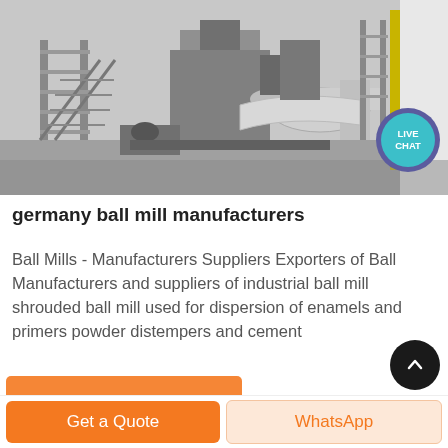[Figure (photo): Industrial factory floor with large machinery, pipes, conveyor equipment and structural metalwork. Black and white/grayscale industrial photo with a 'LIVE CHAT' bubble overlay in the top right area.]
germany ball mill manufacturers
Ball Mills - Manufacturers Suppliers Exporters of Ball Manufacturers and suppliers of industrial ball mill shrouded ball mill used for dispersion of enamels and primers powder distempers and cement
Get a Quote
WhatsApp